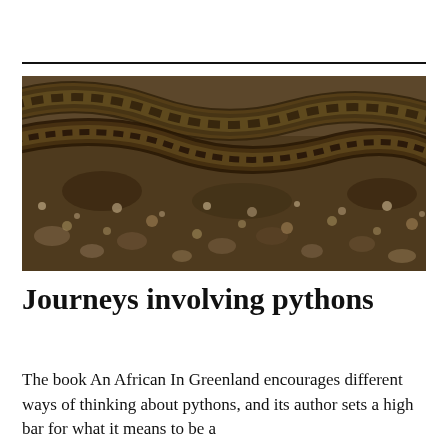[Figure (photo): Close-up photograph of a python snake coiled on rocky ground, showing detailed scale patterns in brown and dark tones camouflaged against rocks and gravel.]
Journeys involving pythons
The book An African In Greenland encourages different ways of thinking about pythons, and its author sets a high bar for what it means to be a